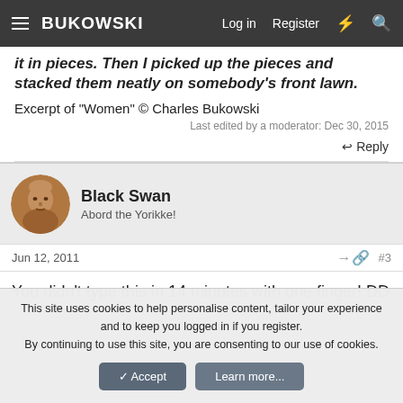BUKOWSKI  Log in  Register
it in pieces. Then I picked up the pieces and stacked them neatly on somebody's front lawn.
Excerpt of "Women" © Charles Bukowski
Last edited by a moderator: Dec 30, 2015
↩ Reply
Black Swan
Abord the Yorikke!
Jun 12, 2011  #3
You didn't type this in 14 minutes with one finger!:DD
This site uses cookies to help personalise content, tailor your experience and to keep you logged in if you register.
By continuing to use this site, you are consenting to our use of cookies.